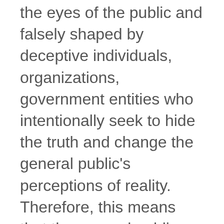the eyes of the public and falsely shaped by deceptive individuals, organizations, government entities who intentionally seek to hide the truth and change the general public's perceptions of reality. Therefore, this means that the general public are also victims in this massive deceptive agenda.
Link to article explaining the situation with Wikipedia editing